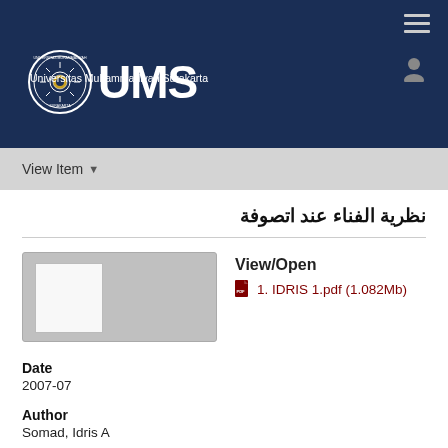[Figure (logo): UMS Universitas Muhammadiyah Surakarta logo and wordmark on dark blue header background]
View Item
نظرية الفناء عند اتصوفة
[Figure (screenshot): Document thumbnail preview image (grey placeholder with white inner page)]
View/Open
1. IDRIS 1.pdf (1.082Mb)
Date
2007-07
Author
Somad, Idris A